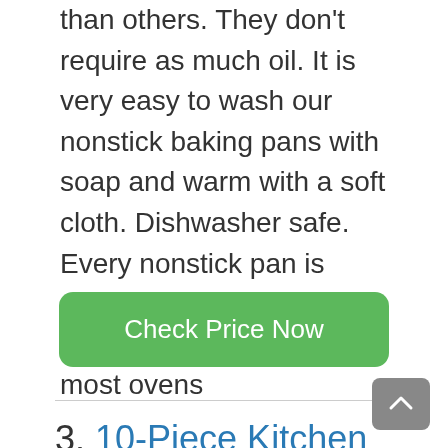than others. They don't require as much oil. It is very easy to wash our nonstick baking pans with soap and warm with a soft cloth. Dishwasher safe. Every nonstick pan is designed to be stored together and suitable for most ovens
[Figure (other): Green rounded rectangle button with text 'Check Price Now']
3. 10-Piece Kitchen Oven Baking Pans – Deluxe Carbon Steel Bakeware Set with Stylish Non-stick Blue Coating Inside and Out, With